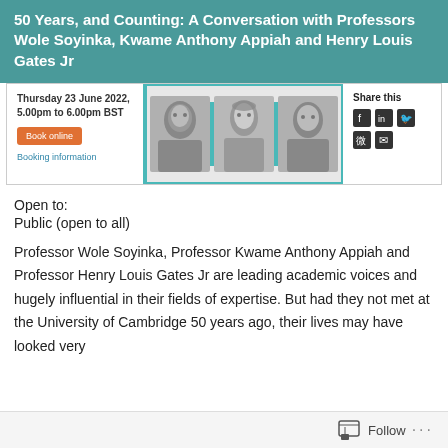50 Years, and Counting: A Conversation with Professors Wole Soyinka, Kwame Anthony Appiah and Henry Louis Gates Jr
Thursday 23 June 2022, 5.00pm to 6.00pm BST
[Figure (photo): Black and white photos of three professors side by side with teal dividers]
Share this
Open to:
Public (open to all)
Professor Wole Soyinka, Professor Kwame Anthony Appiah and Professor Henry Louis Gates Jr are leading academic voices and hugely influential in their fields of expertise. But had they not met at the University of Cambridge 50 years ago, their lives may have looked very